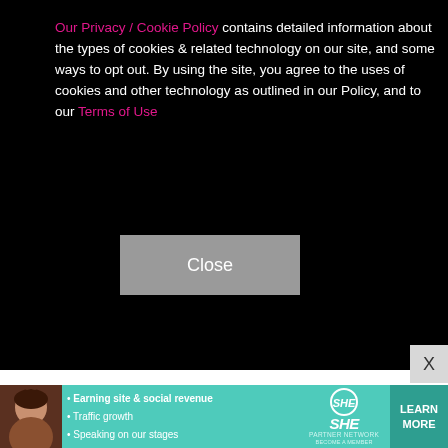Our Privacy / Cookie Policy contains detailed information about the types of cookies & related technology on our site, and some ways to opt out. By using the site, you agree to the uses of cookies and other technology as outlined in our Policy, and to our Terms of Use
[Figure (photo): Cookie consent overlay with Close button on dark background, partially overlapping a red carpet event photo of three people (two men in suits and a woman in a sparkly blazer)]
[Figure (photo): Advertisement banner for SHE Media Partner Network featuring a woman, bullet points about earning site & social revenue, traffic growth, speaking on stages, and a Learn More button]